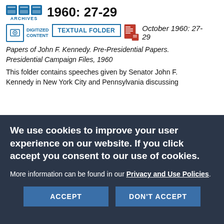1960: 27-29
DIGITIZED CONTENT   TEXTUAL FOLDER   October 1960: 27-29
Papers of John F. Kennedy. Pre-Presidential Papers. Presidential Campaign Files, 1960
This folder contains speeches given by Senator John F. Kennedy in New York City and Pennsylvania discussing
We use cookies to improve your user experience on our website. If you click accept you consent to our use of cookies.

More information can be found in our Privacy and Use Policies.
ACCEPT   DON'T ACCEPT